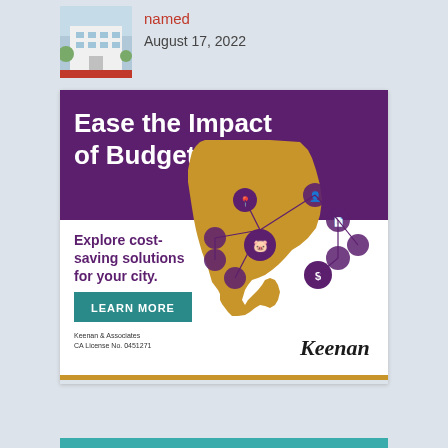[Figure (photo): Thumbnail photo of a building (city hall or government building) with a red bar at the bottom]
named
August 17, 2022
[Figure (infographic): Keenan & Associates advertisement: 'Ease the Impact of Budget Cuts' on purple background, below: 'Explore cost-saving solutions for your city.' with LEARN MORE button and California map graphic with connected icons. Keenan branding at bottom right. CA License No. 0451271.]